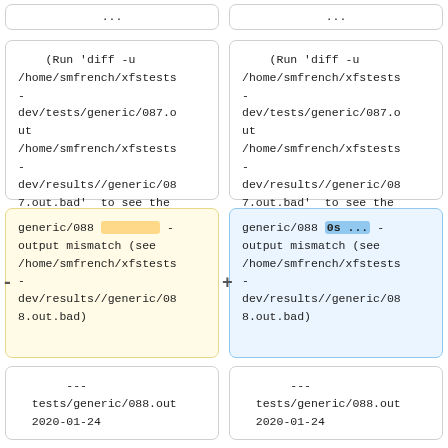...
...
(Run 'diff -u /home/smfrench/xfstests-dev/tests/generic/087.out /home/smfrench/xfstests-dev/results//generic/087.out.bad'  to see the entire diff)
(Run 'diff -u /home/smfrench/xfstests-dev/tests/generic/087.out /home/smfrench/xfstests-dev/results//generic/087.out.bad'  to see the entire diff)
generic/088 [highlight] - output mismatch (see /home/smfrench/xfstests-dev/results//generic/088.out.bad)
generic/088 0s ... - output mismatch (see /home/smfrench/xfstests-dev/results//generic/088.out.bad)
---
tests/generic/088.out
2020-01-24
---
tests/generic/088.out
2020-01-24